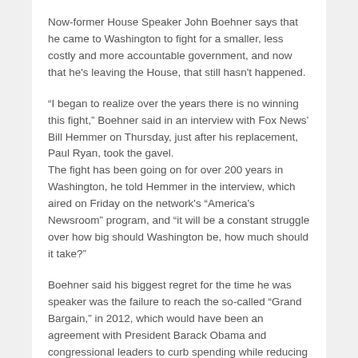Now-former House Speaker John Boehner says that he came to Washington to fight for a smaller, less costly and more accountable government, and now that he's leaving the House, that still hasn't happened.
“I began to realize over the years there is no winning this fight,” Boehner said in an interview with Fox News’ Bill Hemmer on Thursday, just after his replacement, Paul Ryan, took the gavel.
The fight has been going on for over 200 years in Washington, he told Hemmer in the interview, which aired on Friday on the network’s “America’s Newsroom” program, and “it will be a constant struggle over how big should Washington be, how much should it take?”
Boehner said his biggest regret for the time he was speaker was the failure to reach the so-called “Grand Bargain,” in 2012, which would have been an agreement with President Barack Obama and congressional leaders to curb spending while reducing